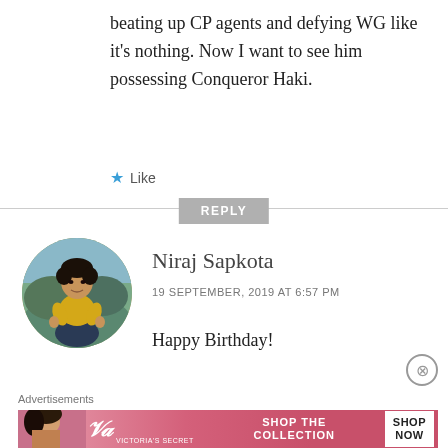beating up CP agents and defying WG like it's nothing. Now I want to see him possessing Conqueror Haki.
★ Like
REPLY
[Figure (photo): Circular avatar photo of Niraj Sapkota, a young man wearing a yellow shirt, sitting outdoors]
Niraj Sapkota
19 SEPTEMBER, 2019 AT 6:57 PM
Happy Birthday!
[Figure (infographic): Victoria's Secret advertisement banner with pink gradient background showing 'SHOP THE COLLECTION' and 'SHOP NOW' button]
Advertisements